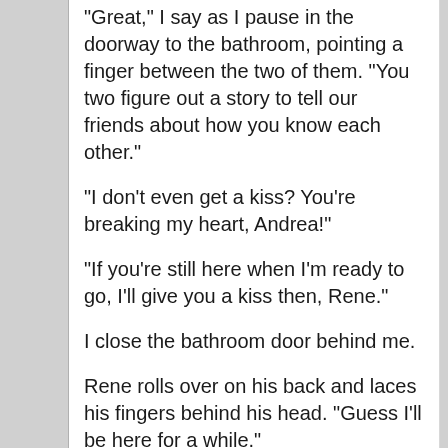"Great," I say as I pause in the doorway to the bathroom, pointing a finger between the two of them. "You two figure out a story to tell our friends about how you know each other."
"I don't even get a kiss? You're breaking my heart, Andrea!"
"If you're still here when I'm ready to go, I'll give you a kiss then, Rene."
I close the bathroom door behind me.
Rene rolls over on his back and laces his fingers behind his head. "Guess I'll be here for a while."
Pablo chuckles and mimics his Brother's pose. "Don't count on it. She's not as fast as Logan, but she's damn fast. And she uses her super speed when she's running late."